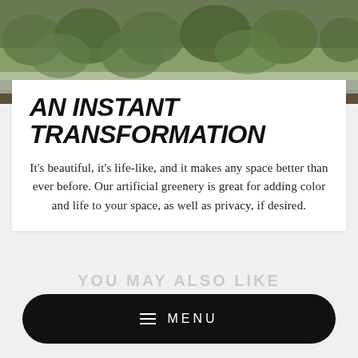[Figure (photo): Outdoor scene with artificial green hedge/wall and patio furniture in the background]
AN INSTANT TRANSFORMATION
It's beautiful, it's life-like, and it makes any space better than ever before. Our artificial greenery is great for adding color and life to your space, as well as privacy, if desired.
YOU MAY ALSO LIKE
MENU